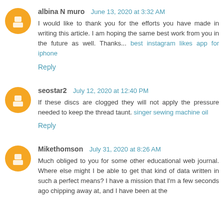albina N muro  June 13, 2020 at 3:32 AM
I would like to thank you for the efforts you have made in writing this article. I am hoping the same best work from you in the future as well. Thanks... best instagram likes app for iphone
Reply
seostar2  July 12, 2020 at 12:40 PM
If these discs are clogged they will not apply the pressure needed to keep the thread taunt. singer sewing machine oil
Reply
Mikethomson  July 31, 2020 at 8:26 AM
Much obliged to you for some other educational web journal. Where else might I be able to get that kind of data written in such a perfect means? I have a mission that I'm a few seconds ago chipping away at, and I have been at the